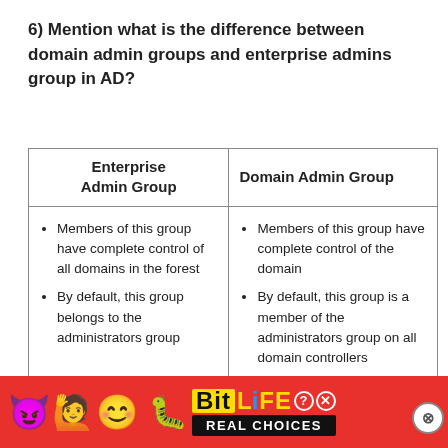6) Mention what is the difference between domain admin groups and enterprise admins group in AD?
| Enterprise Admin Group | Domain Admin Group |
| --- | --- |
| Members of this group have complete control of all domains in the forest
By default, this group belongs to the administrators group | Members of this group have complete control of the domain
By default, this group is a member of the administrators group on all domain controllers |
[Figure (infographic): BitLife advertisement banner with emojis and 'REAL CHOICES' text]